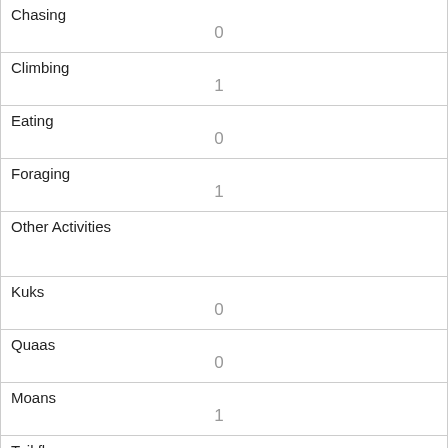| Chasing | 0 |
| Climbing | 1 |
| Eating | 0 |
| Foraging | 1 |
| Other Activities |  |
| Kuks | 0 |
| Quaas | 0 |
| Moans | 1 |
| Tail flags | 0 |
| Tail twitches | 0 |